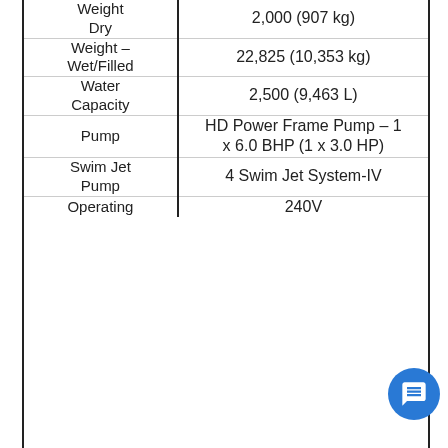| Specification | Value |
| --- | --- |
| Weight – Dry | 2,000 (907 kg) |
| Weight – Wet/Filled | 22,825 (10,353 kg) |
| Water Capacity | 2,500 (9,463 L) |
| Pump | HD Power Frame Pump – 1 x 6.0 BHP (1 x 3.0 HP) |
| Swim Jet Pump | 4 Swim Jet System-IV |
| Operating | 240V |